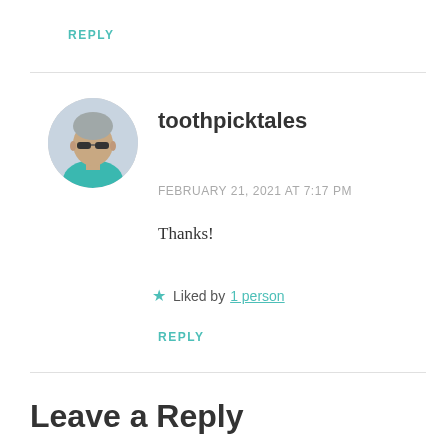REPLY
[Figure (photo): Circular avatar photo of a middle-aged man with gray hair wearing sunglasses and a teal/turquoise shirt]
toothpicktales
FEBRUARY 21, 2021 AT 7:17 PM
Thanks!
★ Liked by 1 person
REPLY
Leave a Reply